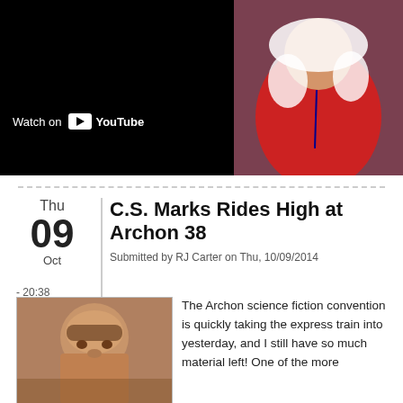[Figure (screenshot): YouTube embedded video player thumbnail. Left half shows black video frame with 'Watch on YouTube' bar at bottom. Right half shows a person in a red and white costume with a YouTube play button overlay.]
C.S. Marks Rides High at Archon 38
Submitted by RJ Carter on Thu, 10/09/2014 - 20:38
[Figure (photo): Portrait photo of a woman with short brown hair.]
The Archon science fiction convention is quickly taking the express train into yesterday, and I still have so much material left! One of the more